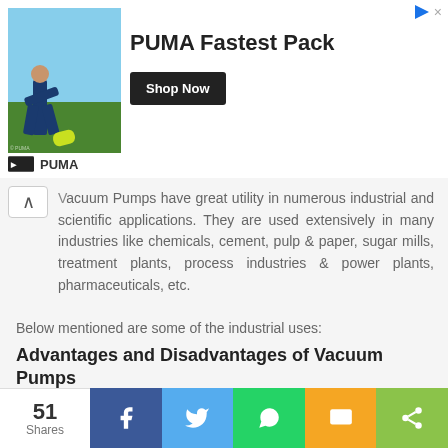[Figure (photo): PUMA advertisement banner featuring a person in athletic gear kicking a ball, with text 'PUMA Fastest Pack' and a 'Shop Now' button]
Vacuum Pumps have great utility in numerous industrial and scientific applications. They are used extensively in many industries like chemicals, cement, pulp & paper, sugar mills, treatment plants, process industries & power plants, pharmaceuticals, etc.
Below mentioned are some of the industrial uses:
Advantages and Disadvantages of Vacuum Pumps
Composite molding
Automobile industry
Medical applications which require suction like radiotherapy, radiosurgery and radiopharmacy
51 Shares — Facebook, Twitter, WhatsApp, SMS, Share